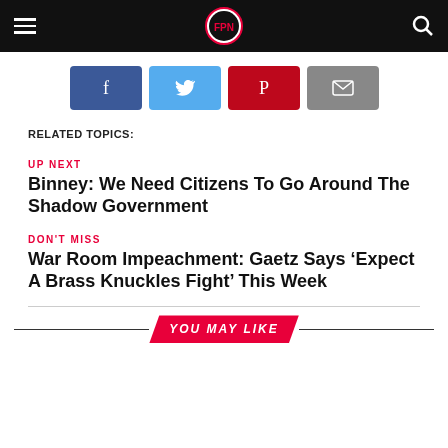Navigation bar with hamburger menu, logo, and search icon
[Figure (infographic): Social share buttons: Facebook, Twitter, Pinterest, Email]
RELATED TOPICS:
UP NEXT
Binney: We Need Citizens To Go Around The Shadow Government
DON'T MISS
War Room Impeachment: Gaetz Says ‘Expect A Brass Knuckles Fight’ This Week
YOU MAY LIKE